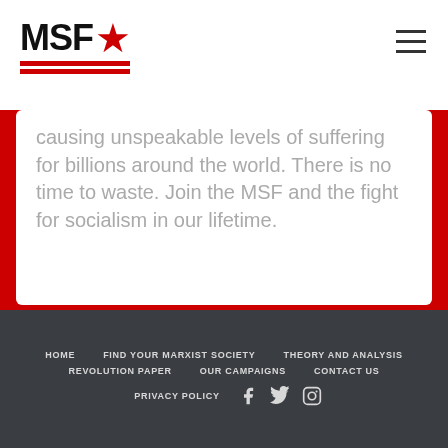MSF (logo with red star)
causing unspeakable levels of suffering for billions around the world. There is no time to waste. Join the MSF and the fight for socialism in our lifetime.
HOME | FIND YOUR MARXIST SOCIETY | THEORY AND ANALYSIS | REVOLUTION PAPER | OUR CAMPAIGNS | CONTACT US | PRIVACY POLICY
[Figure (logo): MSF logo with red star and red double underline]
[Figure (infographic): Social media icons: Facebook, Twitter, Instagram]